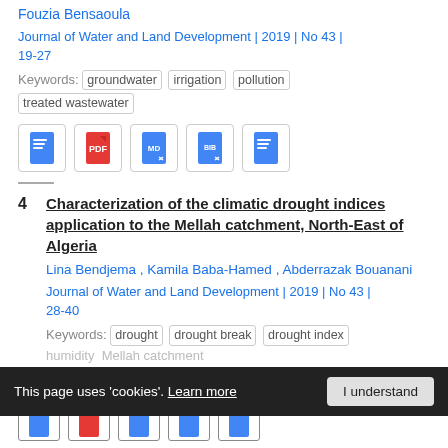Fouzia Bensaoula
Journal of Water and Land Development | 2019 | No 43 | 19-27
Keywords: groundwater irrigation pollution treated wastewater
[Figure (other): Row of 5 document icon buttons (blue doc, red PDF, blue MD, blue BIB, blue doc)]
Characterization of the climatic drought indices application to the Mellah catchment, North-East of Algeria
Lina Bendjema , Kamila Baba-Hamed , Abderrazak Bouanani
Journal of Water and Land Development | 2019 | No 43 | 28-40
Keywords: drought drought break drought index humidity Mellah catchment
This page uses 'cookies'. Learn more | I understand
[Figure (other): Row of 5 partially visible document icon buttons at bottom of page]